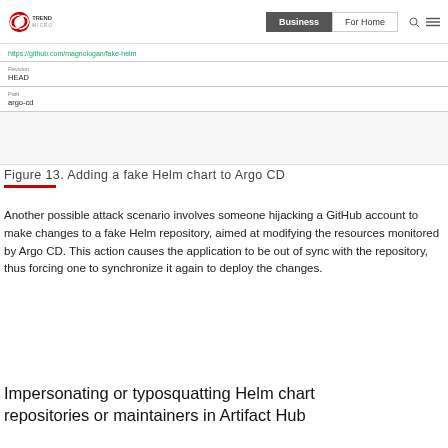Trend Micro | Business | For Home
[Figure (screenshot): Screenshot of a form with fields: URL: https://github.com/magnologan/fake-helm, Revision: HEAD, Path: argo-cd]
Figure 13. Adding a fake Helm chart to Argo CD
Another possible attack scenario involves someone hijacking a GitHub account to make changes to a fake Helm repository, aimed at modifying the resources monitored by Argo CD. This action causes the application to be out of sync with the repository, thus forcing one to synchronize it again to deploy the changes.
Impersonating or typosquatting Helm chart repositories or maintainers in Artifact Hub